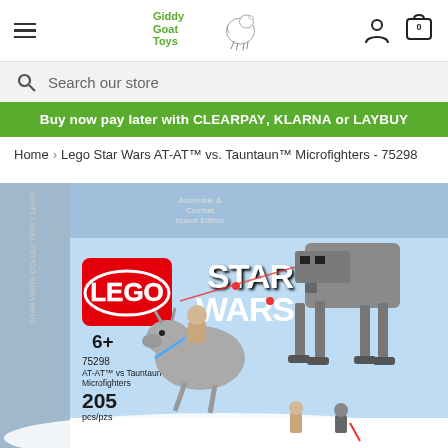Giddy Goat Toys
Search our store
Buy now pay later with CLEARPAY, KLARNA or LAYBUY
Home > Lego Star Wars AT-AT™ vs. Tauntaun™ Microfighters - 75298
[Figure (photo): LEGO Star Wars AT-AT vs Tauntaun Microfighters set 75298 product box image showing the AT-AT walker and Tauntaun microfighters on a snowy Hoth landscape, with minifigures. Box shows 6+, 75298, 205 pcs/pzs.]